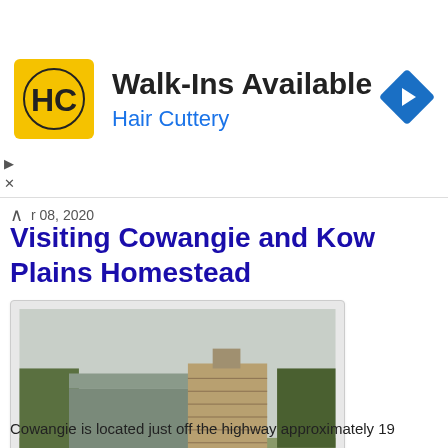[Figure (logo): Hair Cuttery advertisement banner with yellow HC logo, text 'Walk-Ins Available' and 'Hair Cuttery', and a blue navigation diamond icon]
r 08, 2020
Visiting Cowangie and Kow Plains Homestead
[Figure (photo): Outdoor photograph of Kow Plains Homestead showing a stone/brick outbuilding with chimney and a corrugated iron roofed building behind it, set on grassy ground under an overcast sky]
Cowangie is located just off the highway approximately 19